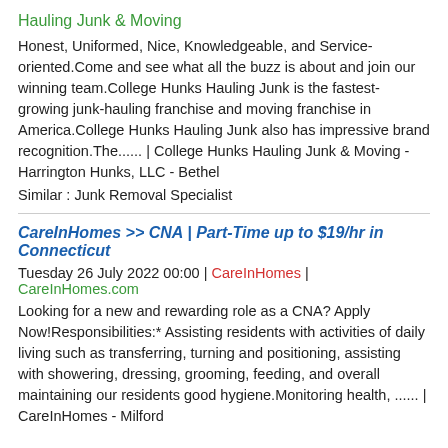Hauling Junk & Moving
Honest, Uniformed, Nice, Knowledgeable, and Service-oriented.Come and see what all the buzz is about and join our winning team.College Hunks Hauling Junk is the fastest-growing junk-hauling franchise and moving franchise in America.College Hunks Hauling Junk also has impressive brand recognition.The...... | College Hunks Hauling Junk & Moving - Harrington Hunks, LLC - Bethel
Similar : Junk Removal Specialist
CareInHomes >> CNA | Part-Time up to $19/hr in Connecticut
Tuesday 26 July 2022 00:00 | CareInHomes | CareInHomes.com
Looking for a new and rewarding role as a CNA? Apply Now!Responsibilities:* Assisting residents with activities of daily living such as transferring, turning and positioning, assisting with showering, dressing, grooming, feeding, and overall maintaining our residents good hygiene.Monitoring health, ...... | CareInHomes - Milford